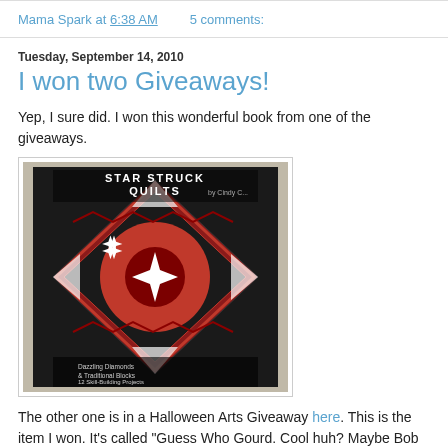Mama Spark at 6:38 AM   5 comments:
Tuesday, September 14, 2010
I won two Giveaways!
Yep, I sure did. I won this wonderful book from one of the giveaways.
[Figure (photo): Book cover of 'Star Struck Quilts' showing a quilt with star patterns in red, black and white with diamonds and traditional blocks]
The other one is in a Halloween Arts Giveaway here. This is the item I won. It's called "Guess Who Gourd. Cool huh? Maybe Bob Jack A...